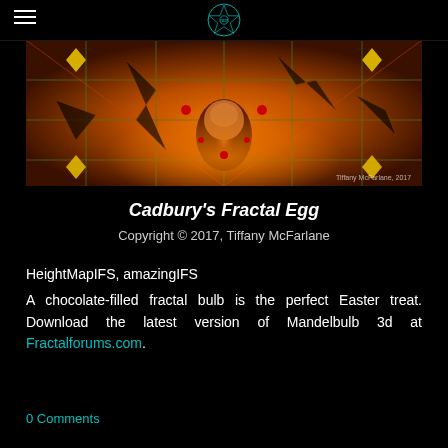IRM (logo)
[Figure (illustration): A colorful fractal artwork showing an orange/amber mandelbulb 3D fractal egg shape with geometric patterns, grids, and bright red/yellow accents on a dark background. Signed 'Tiffany McFarlane, 2017'.]
Cadbury's Fractal Egg
Copyright © 2017, Tiffany McFarlane
HeightMapIFS, amazingIFS
A chocolate-filled fractal bulb is the perfect Easter treat. Download the latest version of Mandelbulb 3d at Fractalforums.com.
0 Comments